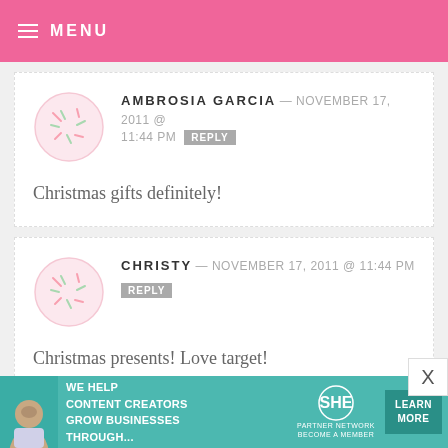MENU
AMBROSIA GARCIA — NOVEMBER 17, 2011 @ 11:44 PM REPLY
Christmas gifts definitely!
CHRISTY — NOVEMBER 17, 2011 @ 11:44 PM REPLY
Christmas presents! Love target!
[Figure (infographic): SHE Partner Network advertisement banner: WE HELP CONTENT CREATORS GROW BUSINESSES THROUGH... LEARN MORE]